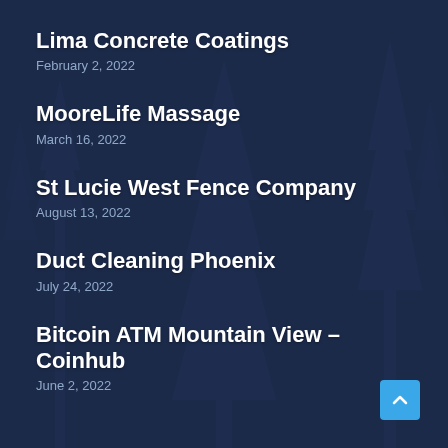Lima Concrete Coatings
February 2, 2022
MooreLife Massage
March 16, 2022
St Lucie West Fence Company
August 13, 2022
Duct Cleaning Phoenix
July 24, 2022
Bitcoin ATM Mountain View – Coinhub
June 2, 2022